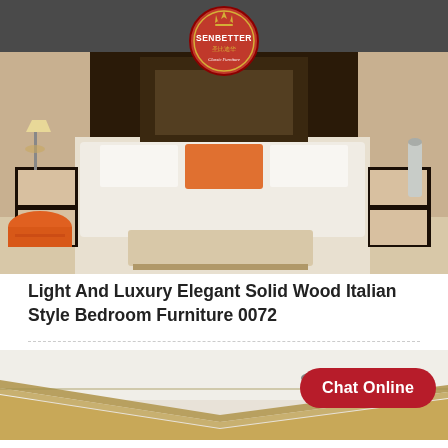[Figure (logo): Senbetter Classic Furniture logo — red oval with gold crown, red text SENBETTER, Chinese characters 圣比迪华, and Classic Furniture in script below]
[Figure (photo): Luxury Italian-style bedroom furniture set: large bed with white bedding and orange accent pillow, dark wood and cream colored headboard, matching nightstands with lamps, round orange stool, and bench at foot of bed]
Light And Luxury Elegant Solid Wood Italian Style Bedroom Furniture 0072
[Figure (photo): Partial interior room view showing ornate ceiling molding with gold detail trim against white ceiling, with recessed spotlights]
Chat Online